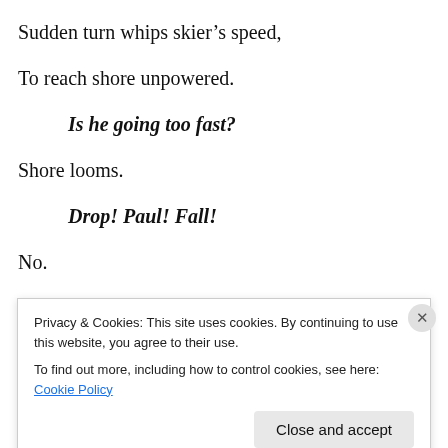Sudden turn whips skier's speed,
To reach shore unpowered.
Is he going too fast?
Shore looms.
Drop! Paul! Fall!
No.
Hits beach – speeding.
Privacy & Cookies: This site uses cookies. By continuing to use this website, you agree to their use.
To find out more, including how to control cookies, see here: Cookie Policy